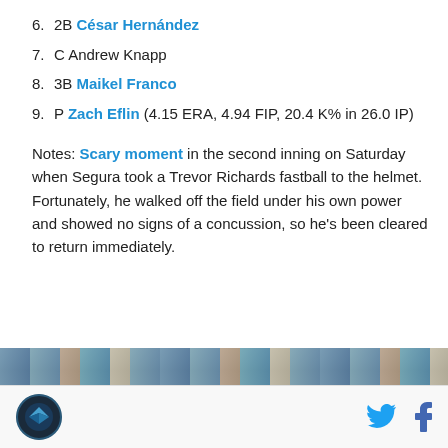6. 2B César Hernández
7. C Andrew Knapp
8. 3B Maikel Franco
9. P Zach Eflin (4.15 ERA, 4.94 FIP, 20.4 K% in 26.0 IP)
Notes: Scary moment in the second inning on Saturday when Segura took a Trevor Richards fastball to the helmet. Fortunately, he walked off the field under his own power and showed no signs of a concussion, so he's been cleared to return immediately.
[Figure (photo): Crowd photo strip at bottom of article]
Logo, Twitter and Facebook icons